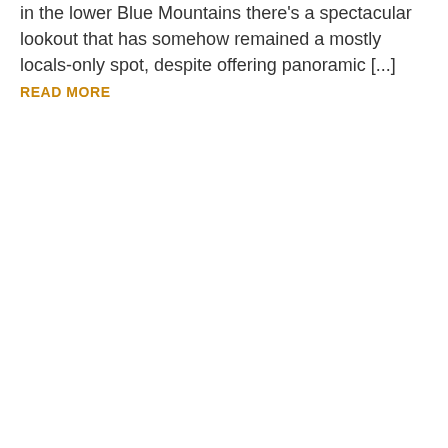in the lower Blue Mountains there's a spectacular lookout that has somehow remained a mostly locals-only spot, despite offering panoramic [...] READ MORE